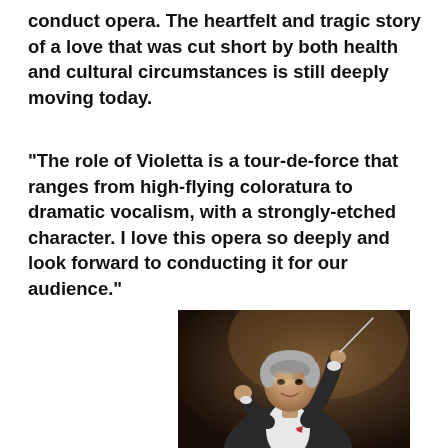conduct opera. The heartfelt and tragic story of a love that was cut short by both health and cultural circumstances is still deeply moving today.
“The role of Violetta is a tour-de-force that ranges from high-flying coloratura to dramatic vocalism, with a strongly-etched character. I love this opera so deeply and look forward to conducting it for our audience.”
[Figure (photo): A male orchestra conductor in a dark suit and white shirt holding a baton in his raised right hand while conducting, photographed against a dark warm background.]